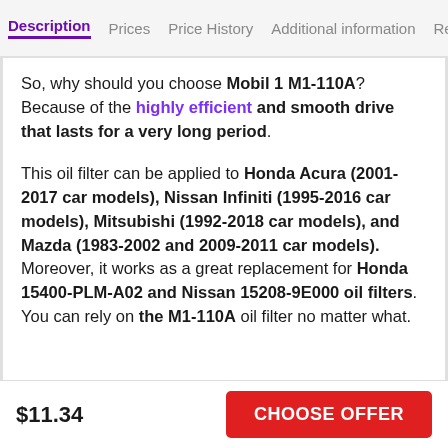Description | Prices | Price History | Additional information | Revie
So, why should you choose Mobil 1 M1-110A? Because of the highly efficient and smooth drive that lasts for a very long period.
This oil filter can be applied to Honda Acura (2001-2017 car models), Nissan Infiniti (1995-2016 car models), Mitsubishi (1992-2018 car models), and Mazda (1983-2002 and 2009-2011 car models). Moreover, it works as a great replacement for Honda 15400-PLM-A02 and Nissan 15208-9E000 oil filters. You can rely on the M1-110A oil filter no matter what.
$11.34    CHOOSE OFFER